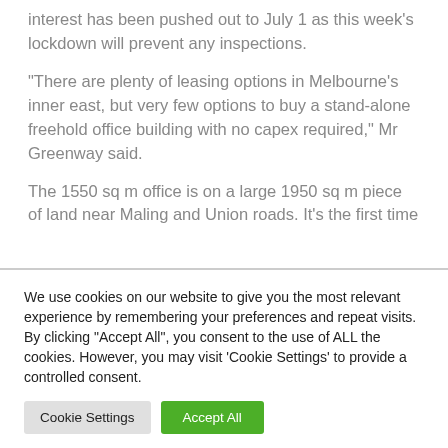interest has been pushed out to July 1 as this week's lockdown will prevent any inspections.
"There are plenty of leasing options in Melbourne's inner east, but very few options to buy a stand-alone freehold office building with no capex required," Mr Greenway said.
The 1550 sq m office is on a large 1950 sq m piece of land near Maling and Union roads. It's the first time
We use cookies on our website to give you the most relevant experience by remembering your preferences and repeat visits. By clicking "Accept All", you consent to the use of ALL the cookies. However, you may visit 'Cookie Settings' to provide a controlled consent.